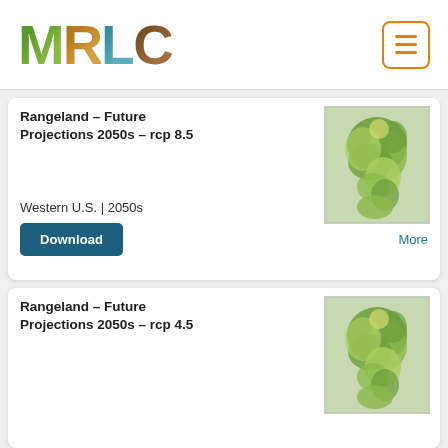[Figure (logo): MRLC logo with letters filled with nature imagery (green forest, brown soil, blue water, brown earth)]
Rangeland – Future Projections 2050s – rcp 8.5
[Figure (map): Map thumbnail showing Western U.S. rangeland projection areas in green tones]
Western U.S. | 2050s
Download
More
Rangeland – Future Projections 2050s – rcp 4.5
[Figure (map): Map thumbnail showing Western U.S. rangeland projection areas in green tones]